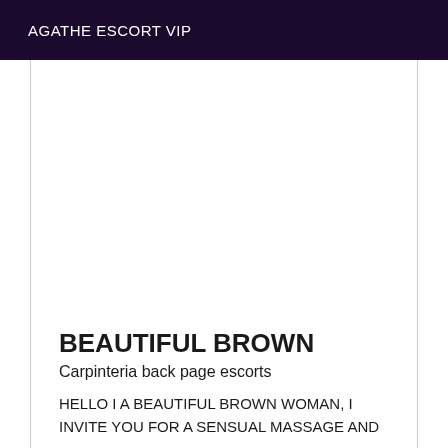AGATHE ESCORT VIP
BEAUTIFUL BROWN
Carpinteria back page escorts
HELLO I A BEAUTIFUL BROWN WOMAN, I INVITE YOU FOR A SENSUAL MASSAGE AND